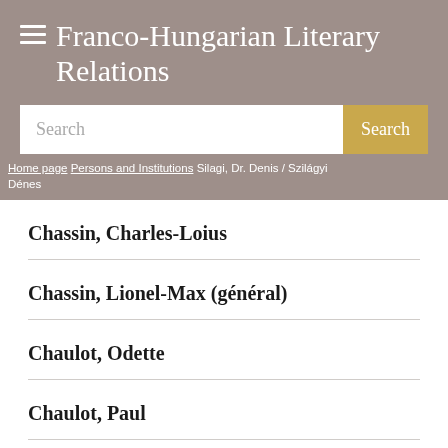Franco-Hungarian Literary Relations
Search
Home page / Persons and Institutions / Silagi, Dr. Denis / Szilágyi Dénes
Chassin, Charles-Loius
Chassin, Lionel-Max (général)
Chaulot, Odette
Chaulot, Paul